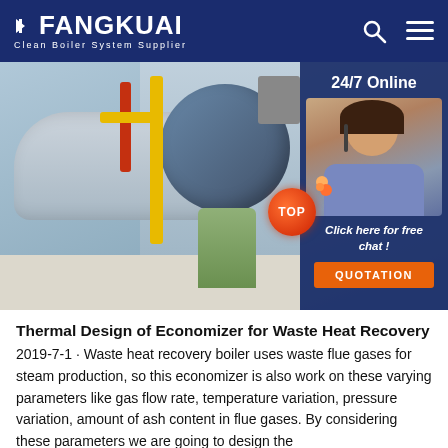FANGKUAI Clean Boiler System Supplier
[Figure (photo): Industrial boiler room with cylindrical boilers, yellow and red pipes, green drums; 24/7 Online customer service representative panel on right with 'Click here for free chat!' text and QUOTATION button]
Thermal Design of Economizer for Waste Heat Recovery
2019-7-1 · Waste heat recovery boiler uses waste flue gases for steam production, so this economizer is also work on these varying parameters like gas flow rate, temperature variation, pressure variation, amount of ash content in flue gases. By considering these parameters we are going to design the economizer for waste heat recovery boiler.